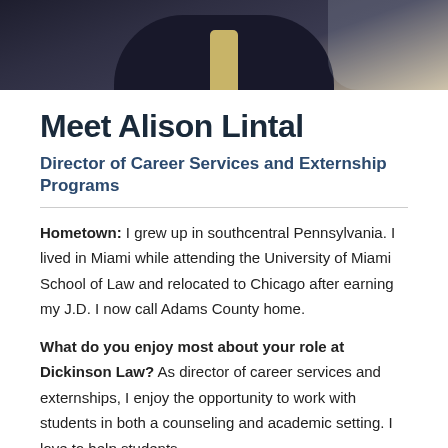[Figure (photo): Partial photo of a person in a dark suit with a light-colored tie/scarf, cropped showing neck/collar area against a light background]
Meet Alison Lintal
Director of Career Services and Externship Programs
Hometown: I grew up in southcentral Pennsylvania. I lived in Miami while attending the University of Miami School of Law and relocated to Chicago after earning my J.D. I now call Adams County home.
What do you enjoy most about your role at Dickinson Law? As director of career services and externships, I enjoy the opportunity to work with students in both a counseling and academic setting. I love to help students